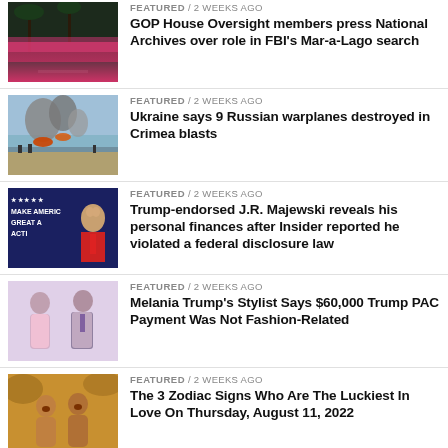FEATURED / 2 weeks ago — GOP House Oversight members press National Archives over role in FBI's Mar-a-Lago search
FEATURED / 2 weeks ago — Ukraine says 9 Russian warplanes destroyed in Crimea blasts
FEATURED / 2 weeks ago — Trump-endorsed J.R. Majewski reveals his personal finances after Insider reported he violated a federal disclosure law
FEATURED / 2 weeks ago — Melania Trump's Stylist Says $60,000 Trump PAC Payment Was Not Fashion-Related
FEATURED / 2 weeks ago — The 3 Zodiac Signs Who Are The Luckiest In Love On Thursday, August 11, 2022